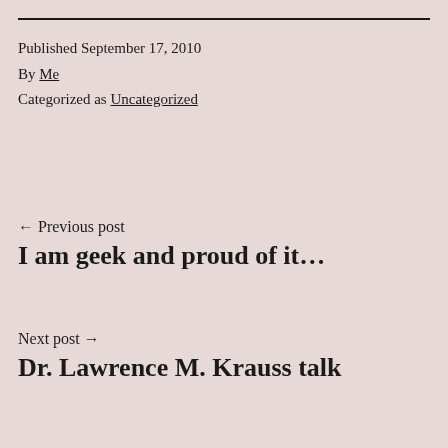Published September 17, 2010
By Me
Categorized as Uncategorized
← Previous post
I am geek and proud of it…
Next post →
Dr. Lawrence M. Krauss talk